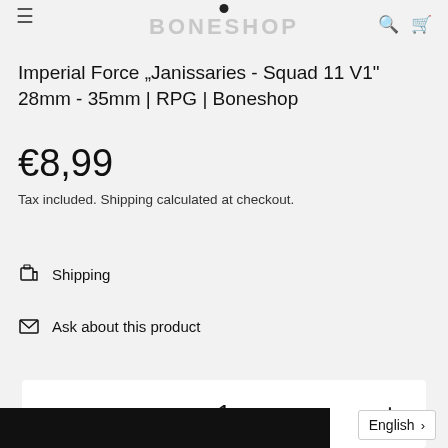BONESHOP
Imperial Force „Janissaries - Squad 11 V1" 28mm - 35mm | RPG | Boneshop
€8,99
Tax included. Shipping calculated at checkout.
Shipping
Ask about this product
− 1 +
English >